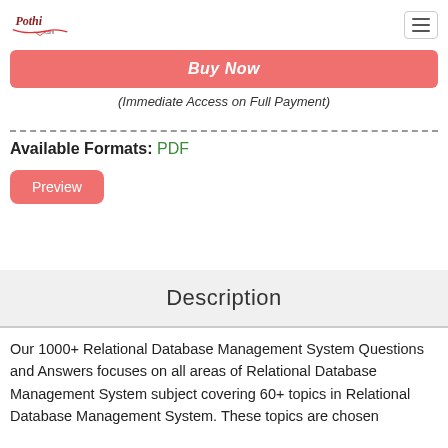[Figure (logo): Pothi.com logo with decorative script text and red underline swoosh]
Buy Now
(Immediate Access on Full Payment)
Available Formats: PDF
Preview
Description
Our 1000+ Relational Database Management System Questions and Answers focuses on all areas of Relational Database Management System subject covering 60+ topics in Relational Database Management System. These topics are chosen